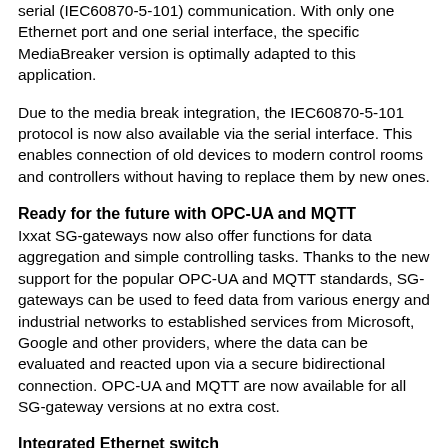serial (IEC60870-5-101) communication. With only one Ethernet port and one serial interface, the specific MediaBreaker version is optimally adapted to this application.
Due to the media break integration, the IEC60870-5-101 protocol is now also available via the serial interface. This enables connection of old devices to modern control rooms and controllers without having to replace them by new ones.
Ready for the future with OPC-UA and MQTT
Ixxat SG-gateways now also offer functions for data aggregation and simple controlling tasks. Thanks to the new support for the popular OPC-UA and MQTT standards, SG-gateways can be used to feed data from various energy and industrial networks to established services from Microsoft, Google and other providers, where the data can be evaluated and reacted upon via a secure bidirectional connection. OPC-UA and MQTT are now available for all SG-gateway versions at no extra cost.
Integrated Ethernet switch
With the new SG-gateway switch version, it is possible...